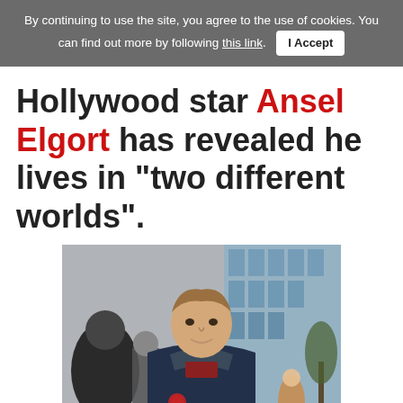By continuing to use the site, you agree to the use of cookies. You can find out more by following this link. I Accept
Hollywood star Ansel Elgort has revealed he lives in "two different worlds".
[Figure (photo): Photo of Ansel Elgort, a young man with light brown hair, wearing a navy blue Canada Goose puffer jacket over a dark red shirt, smiling, standing outdoors on a city street with a glass-facade building in the background and crowd of people around him.]